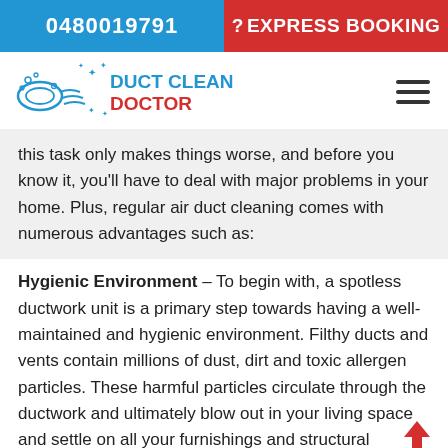0480019791   ? EXPRESS BOOKING
[Figure (logo): Duct Clean Doctor logo with blue and red text and duct/air icon]
this task only makes things worse, and before you know it, you'll have to deal with major problems in your home. Plus, regular air duct cleaning comes with numerous advantages such as:
Hygienic Environment – To begin with, a spotless ductwork unit is a primary step towards having a well-maintained and hygienic environment. Filthy ducts and vents contain millions of dust, dirt and toxic allergen particles. These harmful particles circulate through the ductwork and ultimately blow out in your living space and settle on all your furnishings and structural installations. These allergens and dust particles are